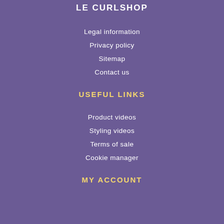LE CURLSHOP
Legal information
Privacy policy
Sitemap
Contact us
USEFUL LINKS
Product videos
Styling videos
Terms of sale
Cookie manager
MY ACCOUNT